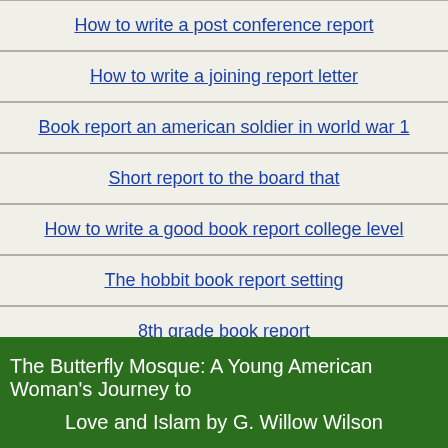How to write a post conference report
How to write a joining report letter
Book report an american soldier in world war 1
Short report to the board that
How to write a good book report college level
The hobbit book report setting
8th grade book report
How to write a formal report gcse exams
How to write accident incident report
The Butterfly Mosque: A Young American Woman's Journey to Love and Islam by G. Willow Wilson